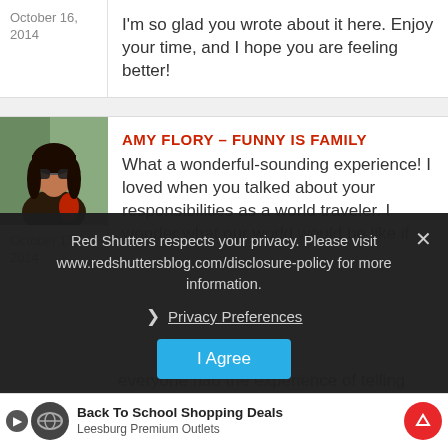October 16, 2014
I'm so glad you wrote about it here. Enjoy your time, and I hope you are feeling better!
[Figure (photo): Avatar photo of Amy Flory, a woman with sunglasses and dark hair outdoors]
October 17, 2014
AMY FLORY – FUNNY IS FAMILY
What a wonderful-sounding experience! I loved when you talked about your responsibilities as a world traveler. I wonder what our world would be like if ... cultures
Red Shutters respects your privacy. Please visit www.redshuttersblog.com/disclosure-policy for more information.
Privacy Preferences
I Agree
Back To School Shopping Deals
Leesburg Premium Outlets